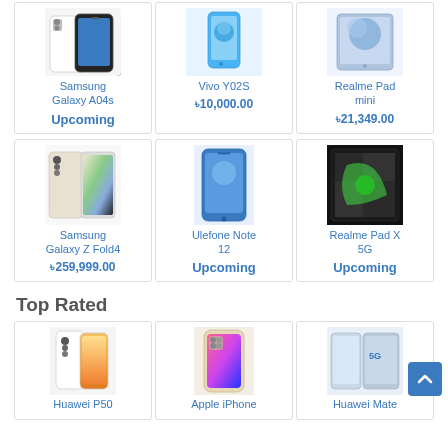[Figure (photo): Samsung Galaxy A04s phone product image]
Samsung Galaxy A04s
Upcoming
[Figure (photo): Vivo Y02S phone product image]
Vivo Y02S
৳10,000.00
[Figure (photo): Realme Pad mini product image]
Realme Pad mini
৳21,349.00
[Figure (photo): Samsung Galaxy Z Fold4 phone product image]
Samsung Galaxy Z Fold4
৳259,999.00
[Figure (photo): Ulefone Note 12 phone product image]
Ulefone Note 12
Upcoming
[Figure (photo): Realme Pad X 5G product image]
Realme Pad X 5G
Upcoming
Top Rated
[Figure (photo): Huawei P50 phone product image]
Huawei P50
[Figure (photo): Apple iPhone product image]
Apple iPhone
[Figure (photo): Huawei Mate product image]
Huawei Mate